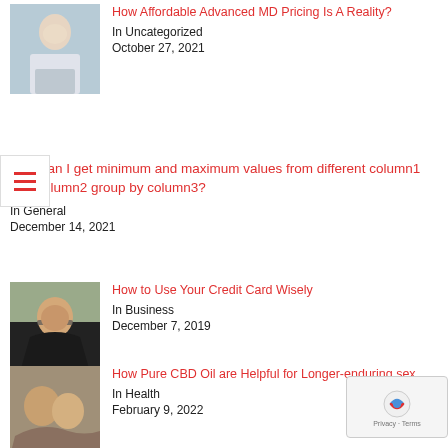[Figure (photo): Woman in white coat working at a laptop]
How Affordable Advanced MD Pricing Is A Reality?
In Uncategorized
October 27, 2021
How can I get minimum and maximum values from different column1 and column2 group by column3?
In General
December 14, 2021
[Figure (photo): Young woman with glasses and long hair]
How to Use Your Credit Card Wisely
In Business
December 7, 2019
[Figure (photo): Couple, close-up photo]
How Pure CBD Oil are Helpful for Longer-enduring sex.
In Health
February 9, 2022